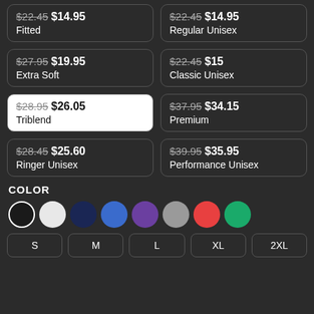$22.45 $14.95 Fitted
$22.45 $14.95 Regular Unisex
$27.95 $19.95 Extra Soft
$22.45 $15 Classic Unisex
$28.95 $26.05 Triblend (selected)
$37.95 $34.15 Premium
$28.45 $25.60 Ringer Unisex
$39.95 $35.95 Performance Unisex
COLOR
[Figure (infographic): Color swatches: black (selected/outlined), white, navy, blue, purple, gray, red, green]
Size buttons: S, M, L, XL, 2XL